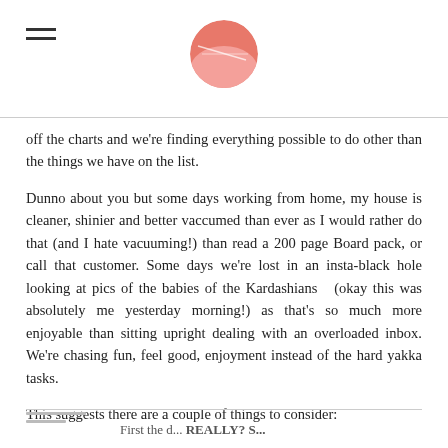[hamburger menu icon] [circular logo]
off the charts and we're finding everything possible to do other than the things we have on the list.
Dunno about you but some days working from home, my house is cleaner, shinier and better vaccumed than ever as I would rather do that (and I hate vacuuming!) than read a 200 page Board pack, or call that customer. Some days we're lost in an insta-black hole looking at pics of the babies of the Kardashians (okay this was absolutely me yesterday morning!) as that's so much more enjoyable than sitting upright dealing with an overloaded inbox. We're chasing fun, feel good, enjoyment instead of the hard yakka tasks.
This suggests there are a couple of things to consider:
First the d... REALLY? S...